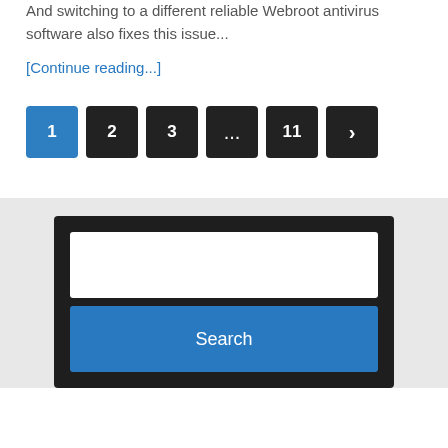And switching to a different reliable Webroot antivirus software also fixes this issue...
[Continue reading...]
[Figure (other): Pagination navigation with buttons: 1 (active/blue), 2, 3, ..., 11, > (next)]
[Figure (other): Search widget with a white text input field and a blue Search button, on a dark background panel, set against a light gray section background]